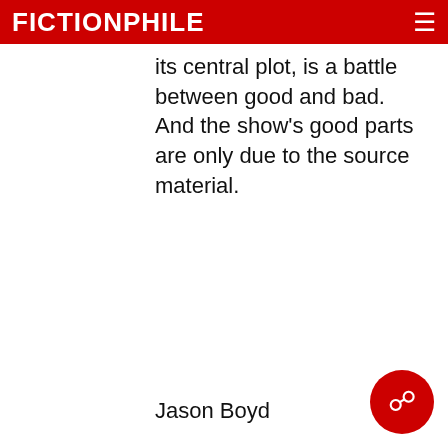FICTIONPHILE
its central plot, is a battle between good and bad. And the show’s good parts are only due to the source material.
Jason Boyd
[Figure (photo): Stage performance photo showing several actors standing on a stage in front of a painted backdrop depicting a classical building. An audience is visible in the foreground.]